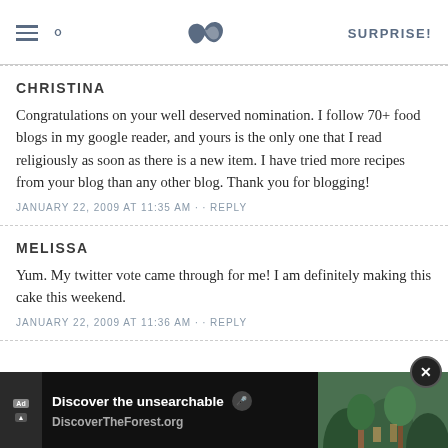SK — SURPRISE!
CHRISTINA
Congratulations on your well deserved nomination. I follow 70+ food blogs in my google reader, and yours is the only one that I read religiously as soon as there is a new item. I have tried more recipes from your blog than any other blog. Thank you for blogging!
JANUARY 22, 2009 AT 11:35 AM · · REPLY
MELISSA
Yum. My twitter vote came through for me! I am definitely making this cake this weekend.
JANUARY 22, 2009 AT 11:36 AM · · REPLY
[Figure (screenshot): Advertisement banner: 'Discover the unsearchable' with DiscoverTheForest.org and a forest background image with people hiking.]